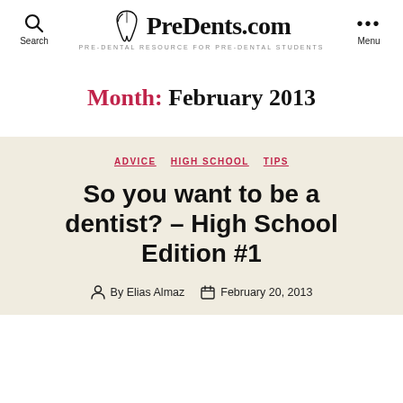PreDents.com – PRE-DENTAL RESOURCE FOR PRE-DENTAL STUDENTS
Month: February 2013
ADVICE  HIGH SCHOOL  TIPS
So you want to be a dentist? – High School Edition #1
By Elias Almaz  February 20, 2013